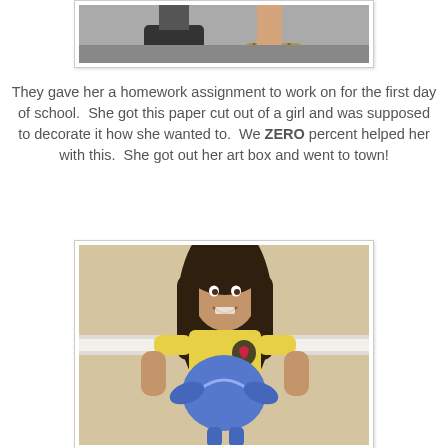[Figure (photo): Partial photo showing feet/legs of people standing on a concrete surface, cropped at top of page]
They gave her a homework assignment to work on for the first day of school.  She got this paper cut out of a girl and was supposed to decorate it how she wanted to.  We ZERO percent helped her with this.  She got out her art box and went to town!
[Figure (photo): A young girl with long dark hair, wearing a yellow t-shirt, smiling and holding a blue painted paper cut-out figure she decorated herself. She is standing against a beige wall with white chair rail molding.]